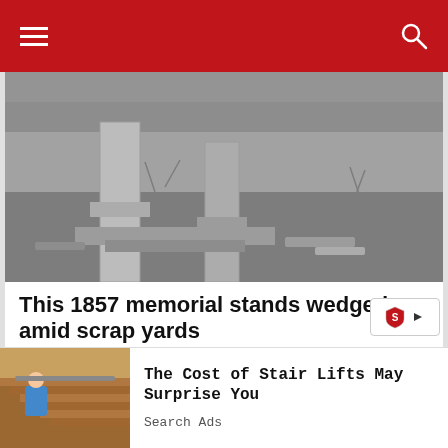[Figure (photo): Black and white photograph of a stone memorial/monument with two stone pillars/columns and rubble at base, surrounded by overgrown vegetation and dirt.]
This 1857 memorial stands wedged amid scrap yards
[Figure (photo): Colorful bunch of assorted balloons floating in a dramatic golden-sky background with clouds.]
The Cost of Stair Lifts May Surprise You
Search Ads